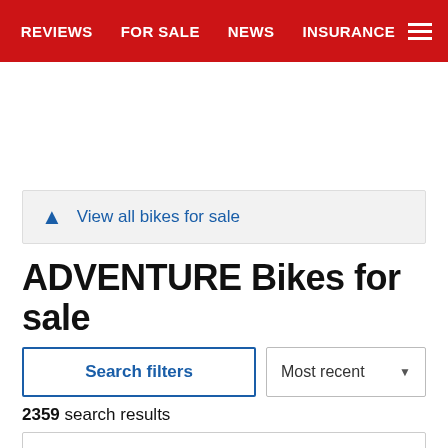REVIEWS  FOR SALE  NEWS  INSURANCE
View all bikes for sale
ADVENTURE Bikes for sale
Search filters
Most recent
2359 search results
SUZUKI DL1050 V-STROM
15